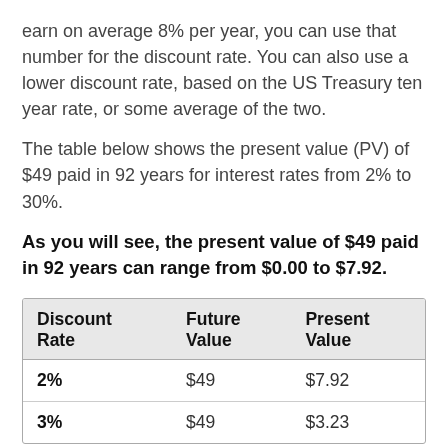earn on average 8% per year, you can use that number for the discount rate. You can also use a lower discount rate, based on the US Treasury ten year rate, or some average of the two.
The table below shows the present value (PV) of $49 paid in 92 years for interest rates from 2% to 30%.
As you will see, the present value of $49 paid in 92 years can range from $0.00 to $7.92.
| Discount Rate | Future Value | Present Value |
| --- | --- | --- |
| 2% | $49 | $7.92 |
| 3% | $49 | $3.23 |